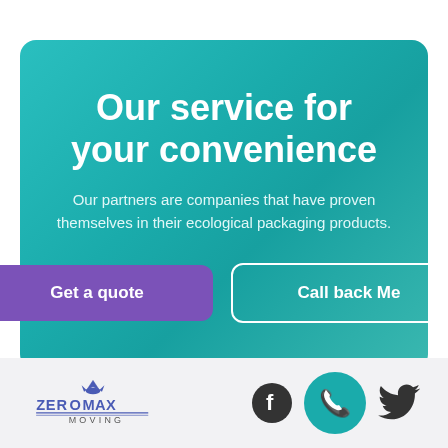Our service for your convenience
Our partners are companies that have proven themselves in their ecological packaging products.
Get a quote
Call back Me
[Figure (logo): Zeromax Moving company logo]
[Figure (other): Social media icons: Facebook circle, phone circle, Twitter bird]